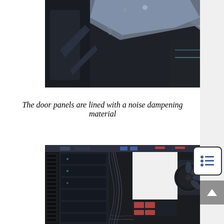[Figure (photo): Close-up photo of a computer case door panel hinge mechanism, showing metal frame components against a dark background]
The door panels are lined with a noise dampening material
[Figure (photo): Interior view of a computer case showing cable management, drive bays, fans, and internal components against a dark background]